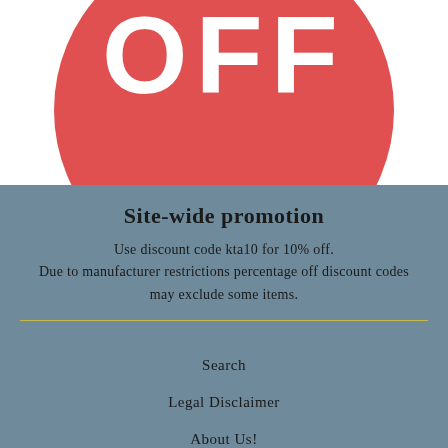[Figure (illustration): Red circle on white background with 'OFF' text in large white bold letters, partially cropped]
Site-wide promotion
Use discount code kta10 for 10% off.
Due to manufacturer restrictions percentage off discount codes may exclude some items.
Search
Legal Disclaimer
About Us!
Contact Us!